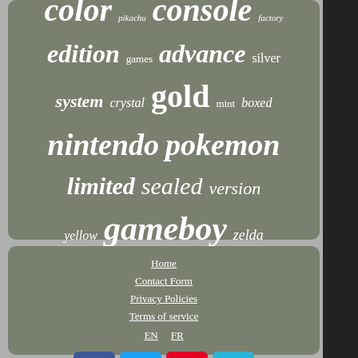[Figure (infographic): Tag cloud with gaming-related words in white text on gray-green background. Words include: color, pikachu, console, factory, edition, games, advance, silver, system, crystal, gold, mint, boxed, nintendo, pokemon, limited, sealed, version, yellow, gameboy, zelda — sized by frequency/importance.]
Home
Contact Form
Privacy Policies
Terms of service
EN  FR
[Figure (infographic): Social media icon buttons: Facebook (blue), Twitter (light blue), Pinterest (red), Email/mail (cyan)]